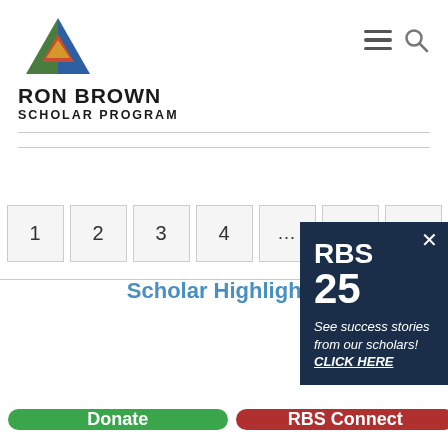[Figure (logo): Ron Brown Scholar Program logo with triangular multicolor icon and text]
[Figure (infographic): RBS 25 popup overlay with dark navy background showing RBS 25 and text: See success stories from our scholars! CLICK HERE]
1
2
3
4
...
8
>
Scholar Highlights
Donate
RBS Connect